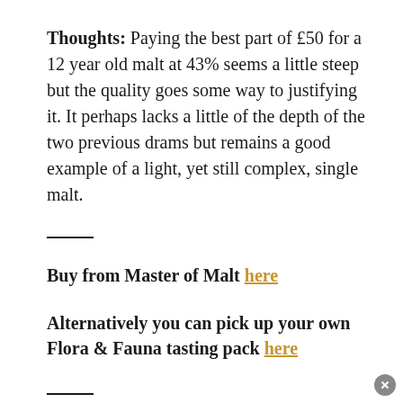Thoughts: Paying the best part of £50 for a 12 year old malt at 43% seems a little steep but the quality goes some way to justifying it. It perhaps lacks a little of the depth of the two previous drams but remains a good example of a light, yet still complex, single malt.
Buy from Master of Malt here
Alternatively you can pick up your own Flora & Fauna tasting pack here
Make Contact